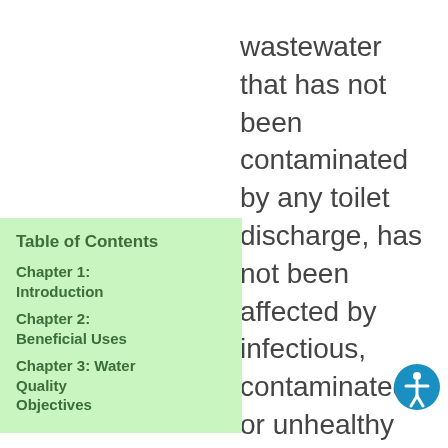wastewater that has not been contaminated by any toilet discharge, has not been affected by infectious, contaminated, or unhealthy bodily wastes, and does not present a threat from contamination by
Table of Contents
Chapter 1: Introduction
Chapter 2: Beneficial Uses
Chapter 3: Water Quality Objectives